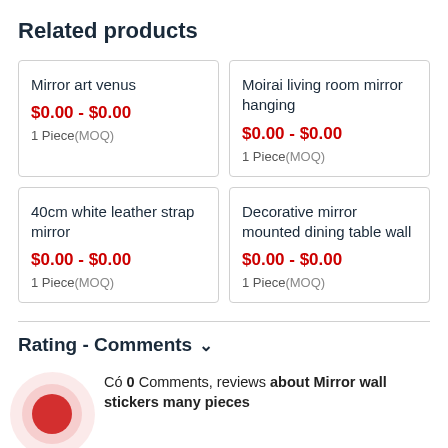Related products
Mirror art venus
$0.00 - $0.00
1 Piece(MOQ)
Moirai living room mirror hanging
$0.00 - $0.00
1 Piece(MOQ)
40cm white leather strap mirror
$0.00 - $0.00
1 Piece(MOQ)
Decorative mirror mounted dining table wall
$0.00 - $0.00
1 Piece(MOQ)
Rating - Comments
Có 0 Comments, reviews about Mirror wall stickers many pieces